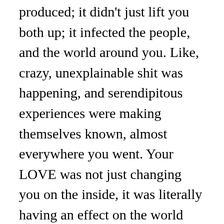produced; it didn't just lift you both up; it infected the people, and the world around you. Like, crazy, unexplainable shit was happening, and serendipitous experiences were making themselves known, almost everywhere you went. Your LOVE was not just changing you on the inside, it was literally having an effect on the world outside of you, as well.
Remember that?
What happened to it?
Where did it go?
Well, just so you know, that MAGIC